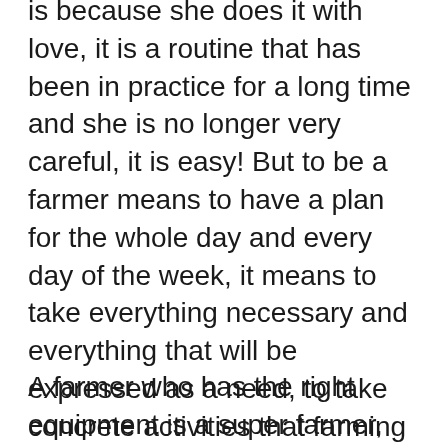is because she does it with love, it is a routine that has been in practice for a long time and she is no longer very careful, it is easy! But to be a farmer means to have a plan for the whole day and every day of the week, it means to take everything necessary and everything that will be expressed as a need, to take concrete activities that farming itself requires to have adequate minimum knowledge, but also to have the equipment that is needed and with which to function in the performance of duties easier.
A farmer who has the right equipment is a super farmer, he can complete any task on time, without much effort, with greater efficiency, and all this makes the farmer more effective than the others say the